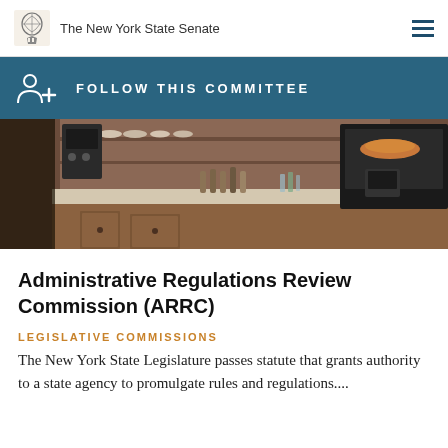The New York State Senate
FOLLOW THIS COMMITTEE
[Figure (photo): Interior of a café or restaurant counter with coffee equipment, shelving with dishes, bottled drinks along the counter, and a display case with food on the right side.]
Administrative Regulations Review Commission (ARRC)
LEGISLATIVE COMMISSIONS
The New York State Legislature passes statute that grants authority to a state agency to promulgate rules and regulations....